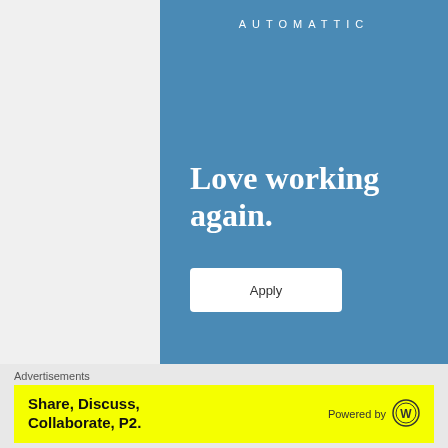[Figure (illustration): Automattic advertisement banner with blue background. Shows 'AUTOMATTIC' logo at top, tagline 'Love working again.' in large serif white text, and an 'Apply' button in white.]
Advertisements
[Figure (illustration): Yellow banner advertisement: 'Share, Discuss, Collaborate, P2.' in bold black text on yellow background, with 'Powered by' and WordPress logo on the right.]